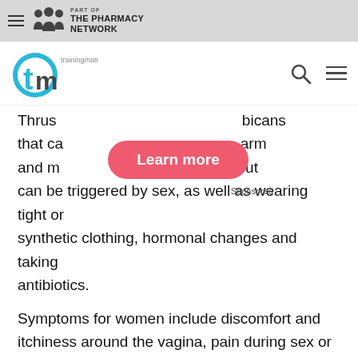Part of The Pharmacy Network
[Figure (logo): Training Matters (tm) logo with search and hamburger navigation icons]
Thrush [obscured by ad] bicans that ca[obscured] arm and m[obscured] out can be triggered by sex, as well as wearing tight or synthetic clothing, hormonal changes and taking antibiotics.
[Figure (other): Sponsored advertisement overlay with a pink 'Learn more' button and 'Sponsored' label]
Symptoms for women include discomfort and itchiness around the vagina, pain during sex or urination and an odourless, thick, white vaginal discharge. Symptoms for men can include difficulty pulling back the foreskin, an unpleasant smell, white